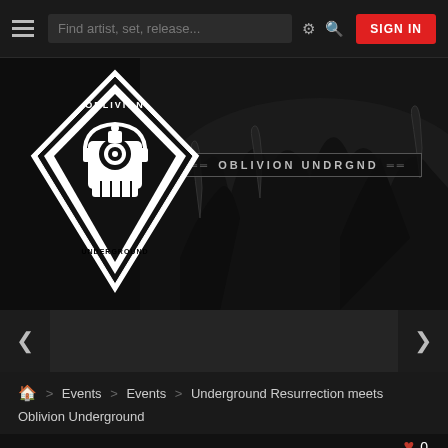Find artist, set, release... SIGN IN
[Figure (illustration): Oblivion Underground logo — diamond-shaped emblem with a skull robot and the text OBLIVION UNDRGND banner, set over a dark crowd/concert background]
< >
🏠 > Events > Events > Underground Resurrection meets Oblivion Underground
♥ 0
UNDERGROUND RESURRECTION MEETS OBLIVION UNDERGROUND